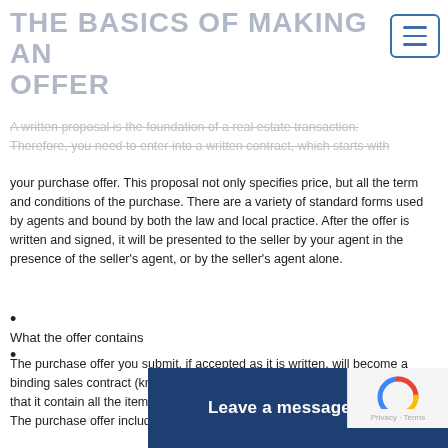THE BASICS OF MAKING AN OFFER
A written proposal is the foundation of a real estate transaction. Therefore, you need to enter into a written contract, which starts with your purchase offer. This proposal not only specifies price, but all the term and conditions of the purchase. There are a variety of standard forms used by agents and bound by both the law and local practice. After the offer is written and signed, it will be presented to the seller by your agent in the presence of the seller’s agent, or by the seller’s agent alone.
What the offer contains
The purchase offer you submit, if accepted as it is written, will become a binding sales contract (known as a purchase agreement). It is important that it contain all the items that will serve as a "blueprint for the final sale." The purchase offer includes such items as:
Leave a message for Michael